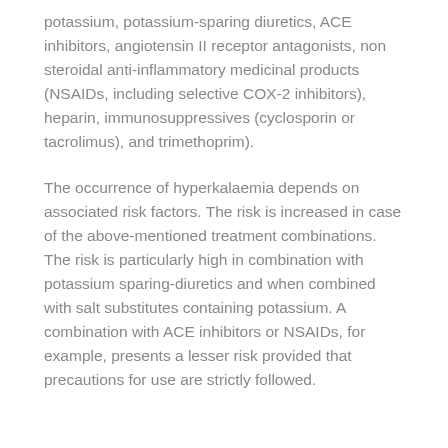potassium, potassium-sparing diuretics, ACE inhibitors, angiotensin II receptor antagonists, non steroidal anti-inflammatory medicinal products (NSAIDs, including selective COX-2 inhibitors), heparin, immunosuppressives (cyclosporin or tacrolimus), and trimethoprim).
The occurrence of hyperkalaemia depends on associated risk factors. The risk is increased in case of the above-mentioned treatment combinations. The risk is particularly high in combination with potassium sparing-diuretics and when combined with salt substitutes containing potassium. A combination with ACE inhibitors or NSAIDs, for example, presents a lesser risk provided that precautions for use are strictly followed.